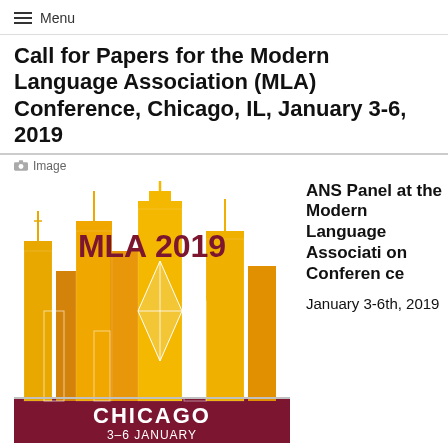Menu
Call for Papers for the Modern Language Association (MLA) Conference, Chicago, IL, January 3-6, 2019
Image
[Figure (illustration): MLA 2019 conference logo featuring a stylized orange and gold Chicago skyline with the text 'MLA 2019' at the top and 'CHICAGO 3-6 JANUARY' on a dark red/maroon banner at the bottom.]
ANS Panel at the Modern Language Association Conference
January 3-6th, 2019